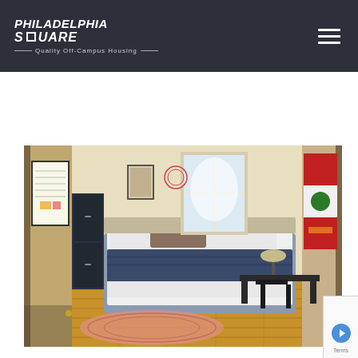Philadelphia Square - Quality Off-Campus Housing
[Figure (photo): Interior bedroom photo showing a bed with white linens and blue blanket, framed posters on walls, hardwood floors, a pink rug, a desk with chair, and a window with natural light. The room appears to be a student off-campus housing unit.]